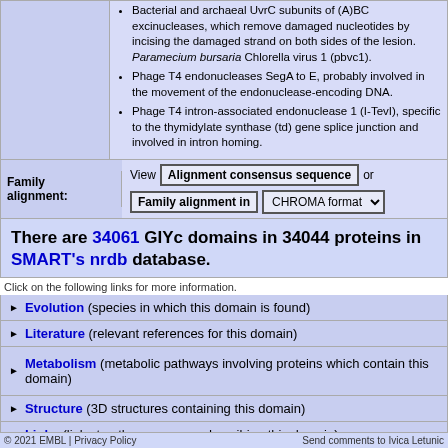Bacterial and archaeal UvrC subunits of (A)BC excinucleases, which remove damaged nucleotides by incising the damaged strand on both sides of the lesion. Paramecium bursaria Chlorella virus 1 (pbvc1).
Phage T4 endonucleases SegA to E, probably involved in the movement of the endonuclease-encoding DNA.
Phage T4 intron-associated endonuclease 1 (I-TevI), specific to the thymidylate synthase (td) gene splice junction and involved in intron homing.
Family alignment:  View  Alignment consensus sequence  or  Family alignment in  CHROMA format
There are 34061 GIYc domains in 34044 proteins in SMART's nrdb database.
Click on the following links for more information.
Evolution (species in which this domain is found)
Literature (relevant references for this domain)
Metabolism (metabolic pathways involving proteins which contain this domain)
Structure (3D structures containing this domain)
Links (links to other resources describing this domain)
© 2021 EMBL | Privacy Policy    Send comments to Ivica Letunic